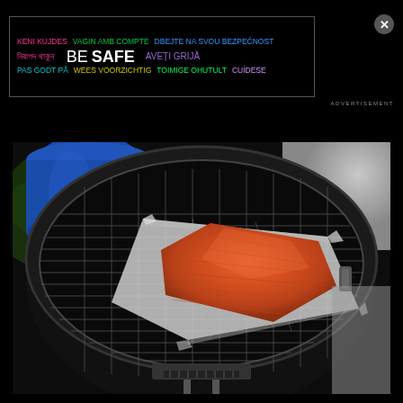[Figure (infographic): Advertisement banner with multilingual 'BE SAFE' text in various colors on black background. Languages include Bengali, Danish, Dutch, Estonian, Spanish (Catalan), Czech, Romanian, and English.]
[Figure (photo): A salmon fillet on aluminum foil on the grate of a round Weber-style charcoal grill. A blue barrel is visible in the upper left. The grill is on a patio/driveway with grass visible.]
ADVERTISEMENT